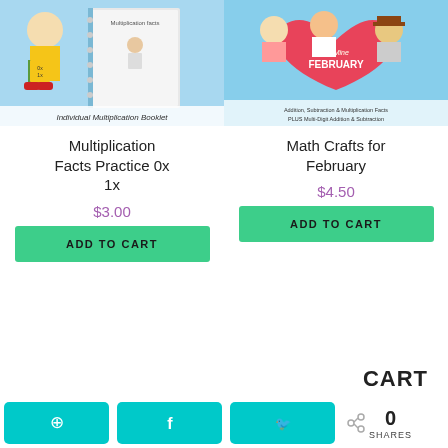[Figure (illustration): Product image for Multiplication Facts Practice 0x 1x - shows a cartoon boy holding a yellow book with 0x/1x on it, and a multiplication facts booklet in the background on blue background. Caption at bottom reads 'Individual Multiplication Booklet']
[Figure (illustration): Product image for Math Crafts for February - shows cartoon children characters with a heart and 'FEBRUARY' text on blue background. Caption reads 'Addition, Subtraction & Multiplication Facts PLUS Multi-Digit Addition & Subtraction']
Multiplication Facts Practice 0x 1x
$3.00
ADD TO CART
Math Crafts for February
$4.50
ADD TO CART
CART
0 SHARES